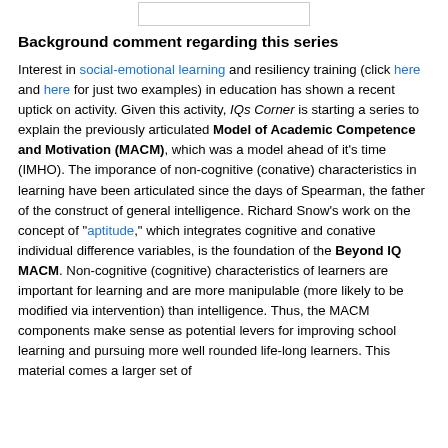[Figure (other): A small rectangular box/image placeholder at the top center of the page]
Background comment regarding this series
Interest in social-emotional learning and resiliency training (click here and here for just two examples) in education has shown a recent uptick on activity. Given this activity, IQs Corner is starting a series to explain the previously articulated Model of Academic Competence and Motivation (MACM), which was a model ahead of it's time (IMHO). The imporance of non-cognitive (conative) characteristics in learning have been articulated since the days of Spearman, the father of the construct of general intelligence. Richard Snow's work on the concept of "aptitude," which integrates cognitive and conative individual difference variables, is the foundation of the Beyond IQ MACM. Non-cognitive (cognitive) characteristics of learners are important for learning and are more manipulable (more likely to be modified via intervention) than intelligence. Thus, the MACM components make sense as potential levers for improving school learning and pursuing more well rounded life-long learners. This material comes a larger set of